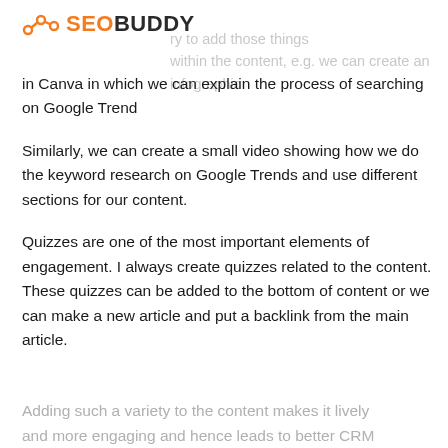SEOBUDDY
in Canva in which we can explain the process of searching on Google Trend
Similarly, we can create a small video showing how we do the keyword research on Google Trends and use different sections for our content.
Quizzes are one of the most important elements of engagement. I always create quizzes related to the content. These quizzes can be added to the bottom of content or we can make a new article and put a backlink from the main article.
Adding such a variety to the content makes it lively and more engaging and hence leads to better CRM